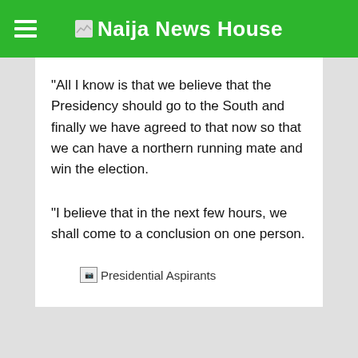Naija News House
“All I know is that we believe that the Presidency should go to the South and finally we have agreed to that now so that we can have a northern running mate and win the election.
“I believe that in the next few hours, we shall come to a conclusion on one person.
[Figure (photo): Broken image placeholder labeled 'Presidential Aspirants']